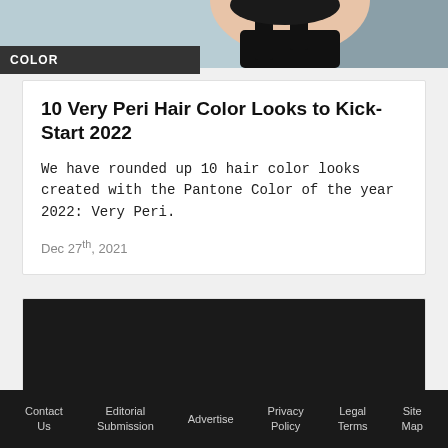[Figure (photo): Partial photo of a person wearing a black outfit, cropped to show head/shoulder area with light blue background]
COLOR
10 Very Peri Hair Color Looks to Kick-Start 2022
We have rounded up 10 hair color looks created with the Pantone Color of the year 2022: Very Peri.
Dec 27th, 2021
[Figure (other): Dark/black advertisement or content placeholder box]
Contact Us   Editorial Submission   Advertise   Privacy Policy   Legal Terms   Site Map